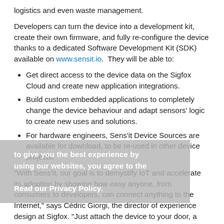logistics and even waste management.
Developers can turn the device into a development kit, create their own firmware, and fully re-configure the device thanks to a dedicated Software Development Kit (SDK) available on www.sensit.io.  They will be able to:
Get direct access to the device data on the Sigfox Cloud and create new application integrations.
Build custom embedded applications to completely change the device behaviour and adapt sensors' logic to create new uses and solutions.
For hardware engineers, Sens'it Device Sources are available for download, to be re-used in other device projects.
“With Sens’it, our goal is to demystify IoT and accelerate its adoption by showing how easy anyone, from consumers to developers, can connect anything to the Internet,” says Cédric Giorgi, the director of experience design at Sigfox. “Just attach the device to your door, a bicycle or anything really, and you will start receiving feeds of real-time data coming from the device, via the Sigfox Cloud, on your phone, through email, SMS or push notifications. It’s that easy.”